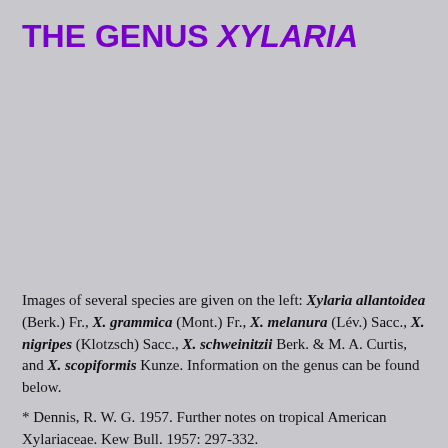THE GENUS XYLARIA
Images of several species are given on the left: Xylaria allantoidea (Berk.) Fr., X. grammica (Mont.) Fr., X. melanura (Lév.) Sacc., X. nigripes (Klotzsch) Sacc., X. schweinitzii Berk. & M. A. Curtis, and X. scopiformis Kunze. Information on the genus can be found below.
* Dennis, R. W. G. 1957. Further notes on tropical American Xylariaceae. Kew Bull. 1957: 297-332.
* Dennis, R. W. G. 1958. Some Xylosphaeras of tropical Africa. Revista Biol., Lisboa 1: 175-208.
* Dennis, R. W. G. 1961. Xylarioideae and Thamnomycetoideae of Congo. Bull. Jard. Bot. État 31: 109-154.